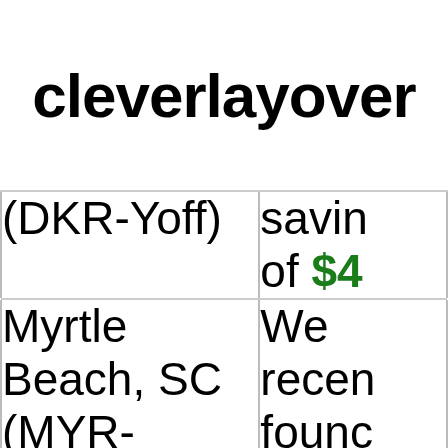cleverlayover
| (DKR-Yoff) | savin of $4 |
| Myrtle Beach, SC (MYR-Myrtle Beach | We recen found savin |